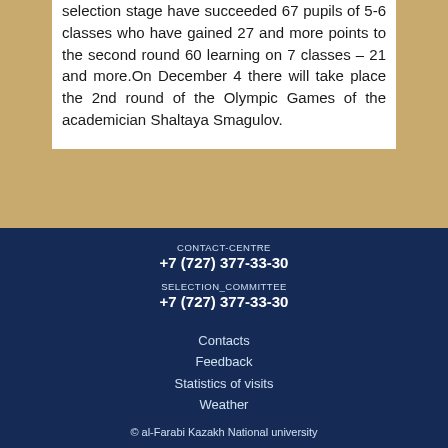selection stage have succeeded 67 pupils of 5-6 classes who have gained 27 and more points to the second round 60 learning on 7 classes – 21 and more.On December 4 there will take place the 2nd round of the Olympic Games of the academician Shaltaya Smagulov.
CONTACT-CENTRE
+7 (727) 377-33-30
SELECTION_COMMITTEE
+7 (727) 377-33-30
Contacts
Feedback
Statistics of visits
Weather
© al-Farabi Kazakh National university